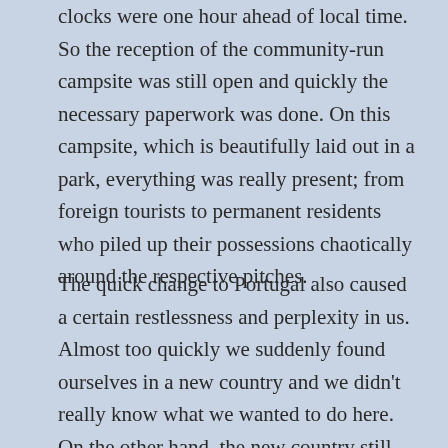clocks were one hour ahead of local time. So the reception of the community-run campsite was still open and quickly the necessary paperwork was done. On this campsite, which is beautifully laid out in a park, everything was really present; from foreign tourists to permanent residents who piled up their possessions chaotically around the respective pitches.
The quick change to Portugal also caused a certain restlessness and perplexity in us. Almost too quickly we suddenly found ourselves in a new country and we didn't really know what we wanted to do here. On the other hand, the new country still took some getting used to for us. After Spain with its mountains and the great vari a small area we searched in vain for this here in sout Portugal.